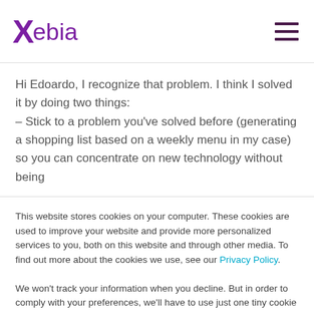Xebia
Hi Edoardo, I recognize that problem. I think I solved it by doing two things:
– Stick to a problem you've solved before (generating a shopping list based on a weekly menu in my case) so you can concentrate on new technology without being
This website stores cookies on your computer. These cookies are used to improve your website and provide more personalized services to you, both on this website and through other media. To find out more about the cookies we use, see our Privacy Policy.

We won't track your information when you decline. But in order to comply with your preferences, we'll have to use just one tiny cookie so that you're not asked to make this choice again.